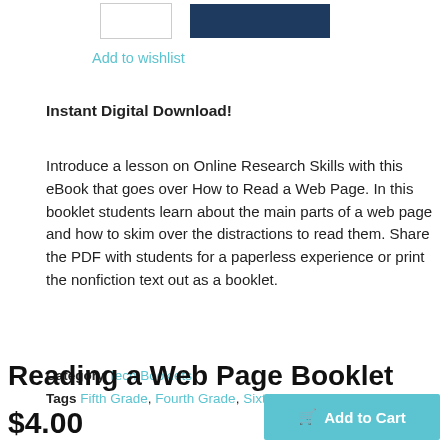[Figure (other): UI buttons: outline button and filled dark blue button in top bar]
Add to wishlist
Instant Digital Download!
Introduce a lesson on Online Research Skills with this eBook that goes over How to Read a Web Page. In this booklet students learn about the main parts of a web page and how to skim over the distractions to read them. Share the PDF with students for a paperless experience or print the nonfiction text out as a booklet.
Category Tech Booklets
Tags Fifth Grade, Fourth Grade, Sixth Grade, Third Grade
Reading a Web Page Booklet
$4.00
Add to Cart